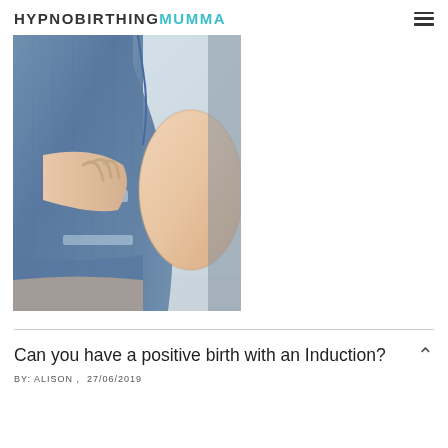HYPNOBIRTHINGMUMMA
[Figure (photo): Pregnant woman wearing an open denim shirt, showing bare baby bump, photographed from the side/front waist-down area]
Can you have a positive birth with an Induction?
BY: ALISON ,  27/06/2019